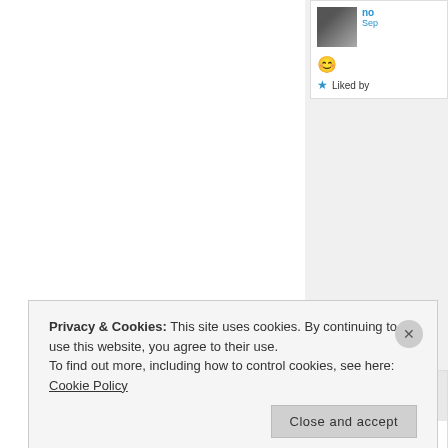[Figure (screenshot): Partial view of a blog/website comment section. Left side is white/blank. Right side shows two comment cards. First card has a user avatar (grayscale photo), 'no' username in blue, 'Sep' date in blue, a flushed face emoji, and a blue star 'Liked by' line. Second card shows a blue diamond/cross pattern avatar, 'Fussy s' username in bold, 'Septem' date in blue, comment text 'This was so mu', blue star 'Like', and blue 'Reply' link. Bottom overlay shows a cookie consent notice.]
Privacy & Cookies: This site uses cookies. By continuing to use this website, you agree to their use.
To find out more, including how to control cookies, see here: Cookie Policy
Close and accept